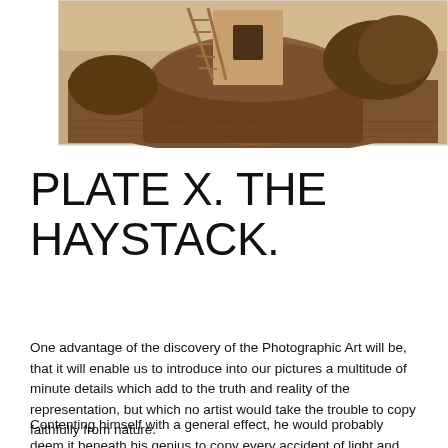[Figure (photo): Sepia-toned photographic image of a haystack scene with a ladder leaning against a structure, surrounded by vegetation and a rural setting.]
PLATE X. THE HAYSTACK.
One advantage of the discovery of the Photographic Art will be, that it will enable us to introduce into our pictures a multitude of minute details which add to the truth and reality of the representation, but which no artist would take the trouble to copy faithfully from nature.
Contenting himself with a general effect, he would probably deem it beneath his genius to copy every accident of light and shade; nor could he do so indeed